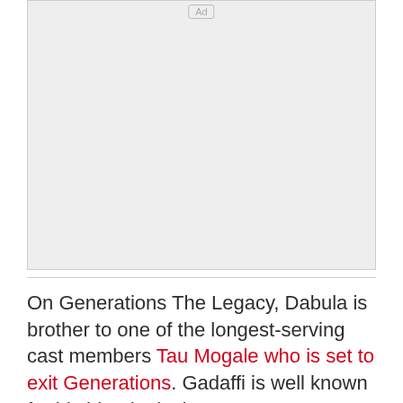[Figure (other): Advertisement placeholder box with 'Ad' label at top center]
On Generations The Legacy, Dabula is brother to one of the longest-serving cast members Tau Mogale who is set to exit Generations. Gadaffi is well known for his bloody rivalry